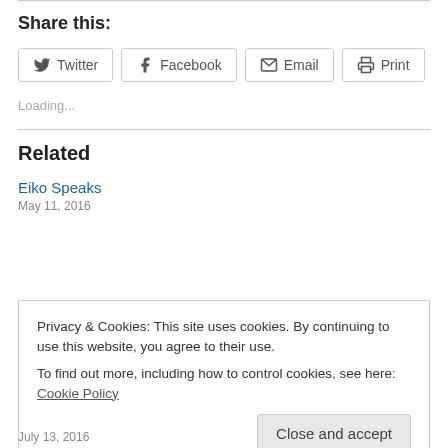Share this:
Twitter  Facebook  Email  Print
Loading...
Related
Eiko Speaks
May 11, 2016
Privacy & Cookies: This site uses cookies. By continuing to use this website, you agree to their use.
To find out more, including how to control cookies, see here: Cookie Policy
Close and accept
July 13, 2016